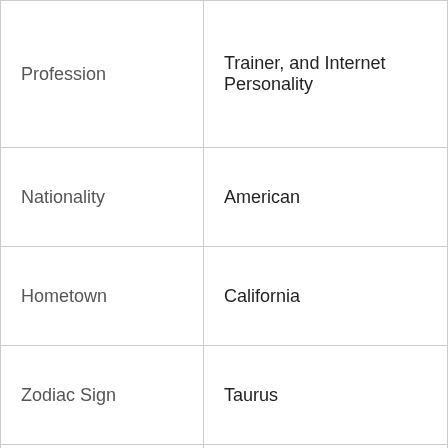| Field | Value |
| --- | --- |
| Profession | Trainer, and Internet Personality |
| Nationality | American |
| Hometown | California |
| Zodiac Sign | Taurus |
| School | Campbell Hall School, Los Angeles, California, US |
|  | Eastern Washington University, United |